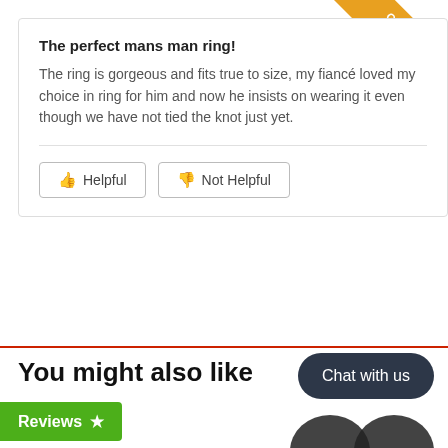The perfect mans man ring!
The ring is gorgeous and fits true to size, my fiancé loved my choice in ring for him and now he insists on wearing it even though we have not tied the knot just yet.
Helpful | Not Helpful
[Figure (infographic): Orange corner banner with text 'Get Instant 10% off']
You might also like
[Figure (other): Chat with us button (dark rounded rectangle)]
Reviews ★
[Figure (photo): Two dark product ring images at bottom]